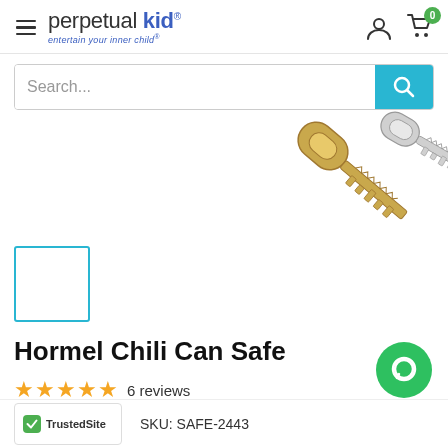[Figure (logo): Perpetual Kid logo with hamburger menu icon. Text reads 'perpetual kid' with tagline 'entertain your inner child'. Cart icon with 0 badge and user icon on right.]
[Figure (screenshot): Search bar with placeholder text 'Search...' and a teal search button with magnifying glass icon.]
[Figure (photo): Partial product image showing gold/brass keys on white background.]
[Figure (photo): Small thumbnail image placeholder with teal border, white background.]
Hormel Chili Can Safe
★★★★★ 6 reviews
SKU: SAFE-2443